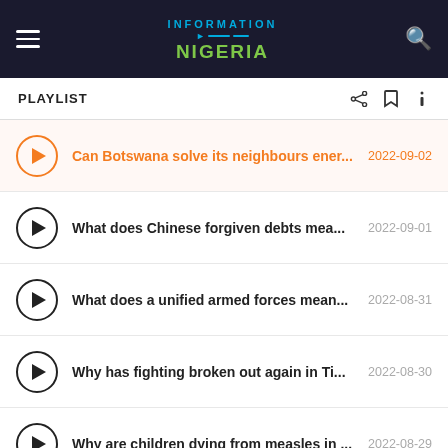Information Nigeria
PLAYLIST
Can Botswana solve its neighbours ener... 2022-09-02
What does Chinese forgiven debts mea... 2022-09-01
What does a unified armed forces mean... 2022-08-31
Why has fighting broken out again in Ti... 2022-08-30
Why are children dying from measles in ... 2022-08-29
Should UN peacekeepers remain in Afri... 2022-08-26